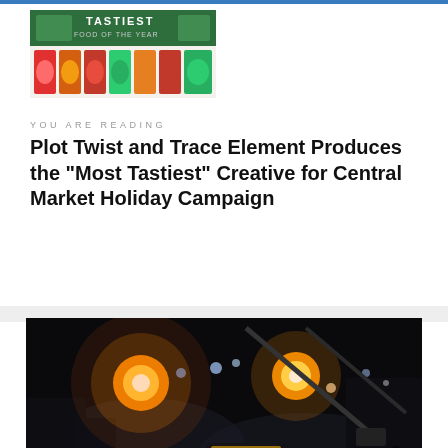[Figure (logo): Tastiest Food of the Year logo with green header and colorful food items below]
YOU ARE READING
Plot Twist and Trace Element Produces the "Most Tastiest" Creative for Central Market Holiday Campaign
[Figure (photo): Dark nighttime film set scene with orange glowing lights, silhouettes of crew members, production equipment, and atmospheric fog/smoke]
wonderful time of year for society in general, it's really the best time of year at Central Market, because during this season they have the largest variety of foods for every type of palate and taste. We took that strategic insight and then